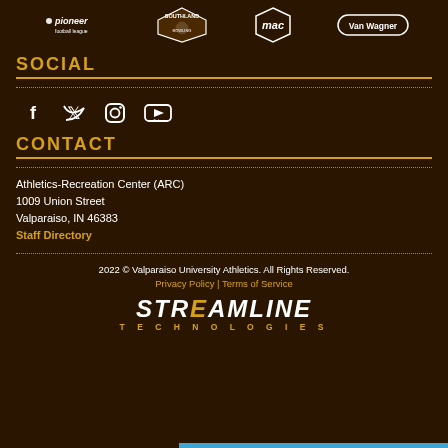[Figure (logo): Row of logos: Pioneer Football League, Southland Bowling, MAC, Van Wagner]
SOCIAL
[Figure (infographic): Social media icons: Facebook, Twitter, Instagram, YouTube]
CONTACT
Athletics-Recreation Center (ARC)
1009 Union Street
Valparaiso, IN 46383
Staff Directory
2022 © Valparaiso University Athletics. All Rights Reserved.
Privacy Policy | Terms of Service
[Figure (logo): Streamline Technologies logo]